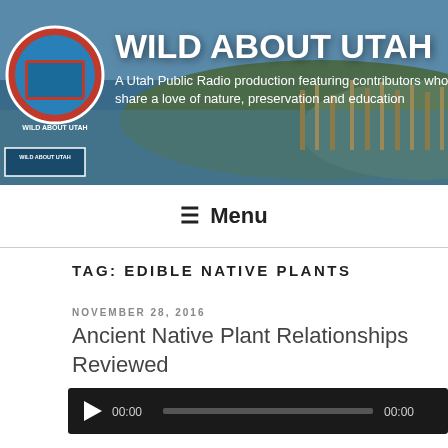[Figure (screenshot): Wild About Utah website header banner with landscape photo of wetlands/marshes, circular logo on left, large white title text and subtitle text]
WILD ABOUT UTAH
A Utah Public Radio production featuring contributors who share a love of nature, preservation and education
≡ Menu
TAG: EDIBLE NATIVE PLANTS
NOVEMBER 28, 2016
Ancient Native Plant Relationships Reviewed
[Figure (other): Audio player widget with dark background, play button triangle, 00:00 start time, progress bar, 00:00 end time]
Hi I'm T.J.